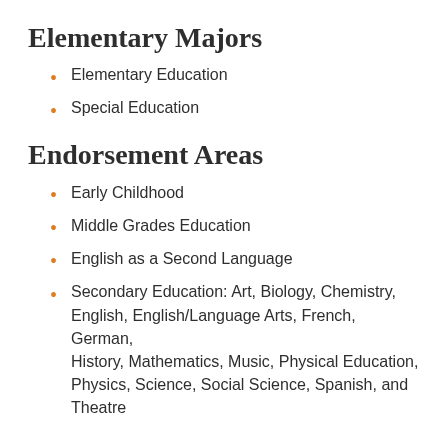Elementary Majors
Elementary Education
Special Education
Endorsement Areas
Early Childhood
Middle Grades Education
English as a Second Language
Secondary Education: Art, Biology, Chemistry, English, English/Language Arts, French, German, History, Mathematics, Music, Physical Education, Physics, Science, Social Science, Spanish, and Theatre